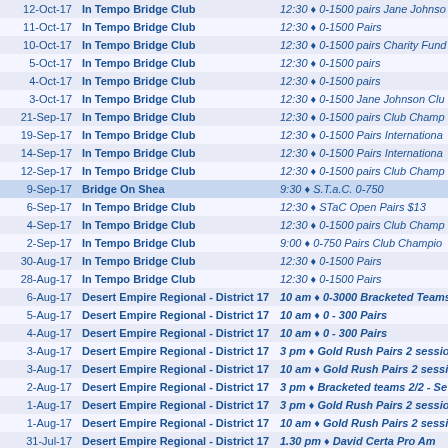| Date | Venue | Event |
| --- | --- | --- |
| 12-Oct-17 | In Tempo Bridge Club | 12:30 ♦ 0-1500 pairs Jane Johnso... |
| 11-Oct-17 | In Tempo Bridge Club | 12:30 ♦ 0-1500 Pairs |
| 10-Oct-17 | In Tempo Bridge Club | 12:30 ♦ 0-1500 pairs Charity Fun... |
| 5-Oct-17 | In Tempo Bridge Club | 12:30 ♦ 0-1500 pairs |
| 4-Oct-17 | In Tempo Bridge Club | 12:30 ♦ 0-1500 pairs |
| 3-Oct-17 | In Tempo Bridge Club | 12:30 ♦ 0-1500 Jane Johnson Clu... |
| 21-Sep-17 | In Tempo Bridge Club | 12:30 ♦ 0-1500 pairs Club Champ... |
| 19-Sep-17 | In Tempo Bridge Club | 12:30 ♦ 0-1500 Pairs Internationa... |
| 14-Sep-17 | In Tempo Bridge Club | 12:30 ♦ 0-1500 Pairs Internationa... |
| 12-Sep-17 | In Tempo Bridge Club | 12:30 ♦ 0-1500 pairs Club Champ... |
| 9-Sep-17 | Bridge On Shea | 9:30 ♦ S.T.a.C. 0-750 |
| 6-Sep-17 | In Tempo Bridge Club | 12:30 ♦ STaC Open Pairs $13 |
| 4-Sep-17 | In Tempo Bridge Club | 12:30 ♦ 0-1500 pairs Club Champ... |
| 2-Sep-17 | In Tempo Bridge Club | 9:00 ♦ 0-750 Pairs Club Champions... |
| 30-Aug-17 | In Tempo Bridge Club | 12:30 ♦ 0-1500 Pairs |
| 28-Aug-17 | In Tempo Bridge Club | 12:30 ♦ 0-1500 Pairs |
| 6-Aug-17 | Desert Empire Regional - District 17 | 10 am ♦ 0-3000 Bracketed Teams... |
| 5-Aug-17 | Desert Empire Regional - District 17 | 10 am ♦ 0 - 300 Pairs |
| 4-Aug-17 | Desert Empire Regional - District 17 | 10 am ♦ 0 - 300 Pairs |
| 3-Aug-17 | Desert Empire Regional - District 17 | 3 pm ♦ Gold Rush Pairs 2 sessio... |
| 3-Aug-17 | Desert Empire Regional - District 17 | 10 am ♦ Gold Rush Pairs 2 sessi... |
| 2-Aug-17 | Desert Empire Regional - District 17 | 3 pm ♦ Bracketed teams 2/2 - Se... |
| 1-Aug-17 | Desert Empire Regional - District 17 | 3 pm ♦ Gold Rush Pairs 2 sessio... |
| 1-Aug-17 | Desert Empire Regional - District 17 | 10 am ♦ Gold Rush Pairs 2 sessi... |
| 31-Jul-17 | Desert Empire Regional - District 17 | 1.30 pm ♦ David Certa Pro Am |
| 17-Jul-17 | In Tempo Bridge Club | 12:30 ♦ 0-750 Pairs |
| 15-Jul-17 | In Tempo Bridge Club | 9:00-12:30 ♦ 0-750 pairs |
| 13-Jul-17 | In Tempo Bridge Club | 12:30 ♦ 0-750 Pairs |
| 11-Jul-17 | In Tempo Bridge Club | 12:30 ♦ 0-750 Pairs |